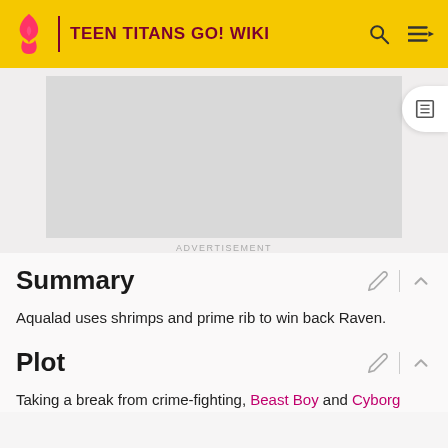TEEN TITANS GO! WIKI
[Figure (other): Advertisement placeholder area (grey rectangle)]
ADVERTISEMENT
Summary
Aqualad uses shrimps and prime rib to win back Raven.
Plot
Taking a break from crime-fighting, Beast Boy and Cyborg